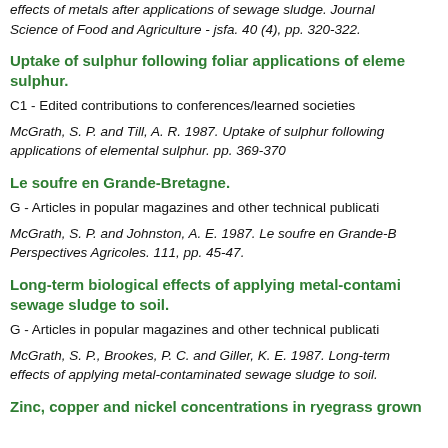effects of metals after applications of sewage sludge. Journal Science of Food and Agriculture - jsfa. 40 (4), pp. 320-322.
Uptake of sulphur following foliar applications of elemental sulphur.
C1 - Edited contributions to conferences/learned societies
McGrath, S. P. and Till, A. R. 1987. Uptake of sulphur following applications of elemental sulphur. pp. 369-370
Le soufre en Grande-Bretagne.
G - Articles in popular magazines and other technical publications
McGrath, S. P. and Johnston, A. E. 1987. Le soufre en Grande-B Perspectives Agricoles. 111, pp. 45-47.
Long-term biological effects of applying metal-contaminated sewage sludge to soil.
G - Articles in popular magazines and other technical publications
McGrath, S. P., Brookes, P. C. and Giller, K. E. 1987. Long-term effects of applying metal-contaminated sewage sludge to soil.
Zinc, copper and nickel concentrations in ryegrass grown